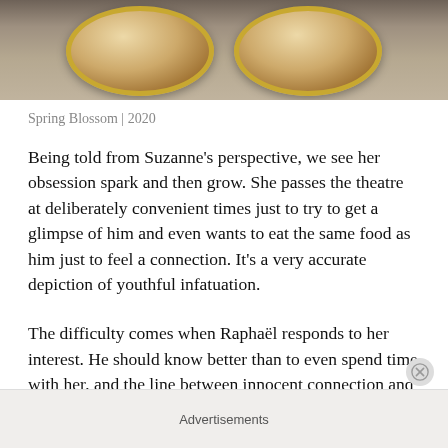[Figure (photo): Two round café tables with gold rims viewed from above, people seated behind them, blurred background]
Spring Blossom | 2020
Being told from Suzanne's perspective, we see her obsession spark and then grow. She passes the theatre at deliberately convenient times just to try to get a glimpse of him and even wants to eat the same food as him just to feel a connection. It's a very accurate depiction of youthful infatuation.
The difficulty comes when Raphaël responds to her interest. He should know better than to even spend time with her, and the line between innocent connection and romance is blurred. The similarities between them are
Advertisements